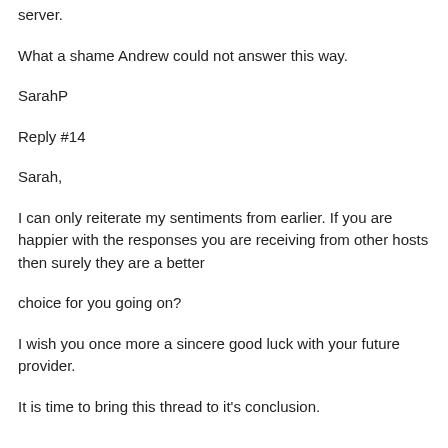server.
What a shame Andrew could not answer this way.
SarahP
Reply #14
Sarah,
I can only reiterate my sentiments from earlier. If you are happier with the responses you are receiving from other hosts then surely they are a better
choice for you going on?
I wish you once more a sincere good luck with your future provider.
It is time to bring this thread to it's conclusion.